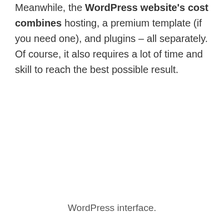Meanwhile, the WordPress website's cost combines hosting, a premium template (if you need one), and plugins – all separately. Of course, it also requires a lot of time and skill to reach the best possible result.
WordPress interface.